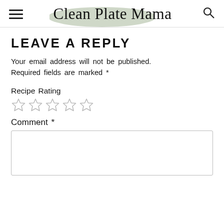Clean Plate Mama
LEAVE A REPLY
Your email address will not be published. Required fields are marked *
Recipe Rating
[Figure (other): Five empty star rating icons]
Comment *
[Figure (other): Empty comment text area input box]